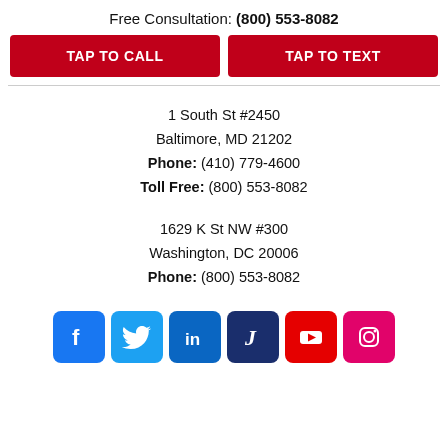Free Consultation: (800) 553-8082
TAP TO CALL
TAP TO TEXT
1 South St #2450
Baltimore, MD 21202
Phone: (410) 779-4600
Toll Free: (800) 553-8082
1629 K St NW #300
Washington, DC 20006
Phone: (800) 553-8082
[Figure (logo): Social media icons row: Facebook, Twitter, LinkedIn, Justia, YouTube, Instagram]